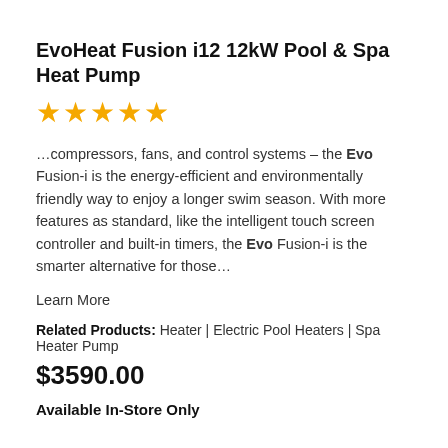EvoHeat Fusion i12 12kW Pool & Spa Heat Pump
★★★★★
…compressors, fans, and control systems – the Evo Fusion-i is the energy-efficient and environmentally friendly way to enjoy a longer swim season. With more features as standard, like the intelligent touch screen controller and built-in timers, the Evo Fusion-i is the smarter alternative for those…
Learn More
Related Products: Heater | Electric Pool Heaters | Spa Heater Pump
$3590.00
Available In-Store Only